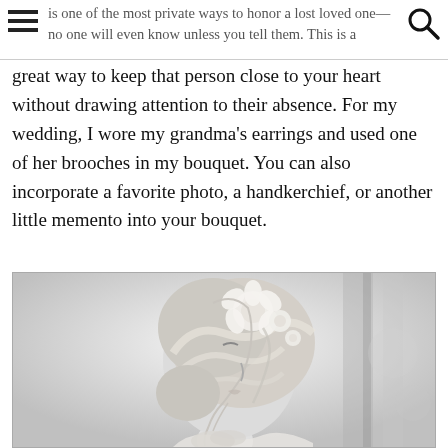is one of the most private ways to honor a lost loved one—no one will even know unless you tell them. This is a
great way to keep that person close to your heart without drawing attention to their absence. For my wedding, I wore my grandma's earrings and used one of her brooches in my bouquet. You can also incorporate a favorite photo, a handkerchief, or another little memento into your bouquet.
[Figure (photo): Black and white photograph of a bride in profile, with floral hair accessories woven into an updo hairstyle, looking downward with hands clasped near her chin.]